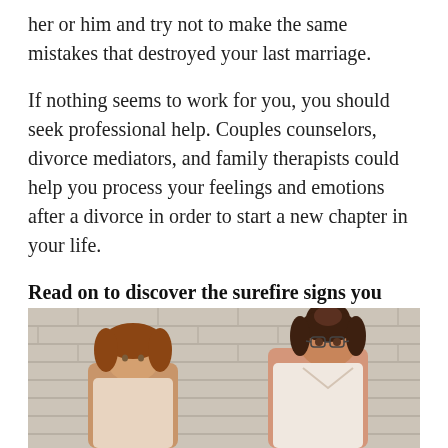her or him and try not to make the same mistakes that destroyed your last marriage.
If nothing seems to work for you, you should seek professional help. Couples counselors, divorce mediators, and family therapists could help you process your feelings and emotions after a divorce in order to start a new chapter in your life.
Read on to discover the surefire signs you should hold off on getting remarried.
[Figure (photo): Photo of two people, one with dark hair in a bun wearing glasses (right), and another person with reddish-brown hair (left), appearing to be in a counseling or conversation setting against a light brick wall background.]